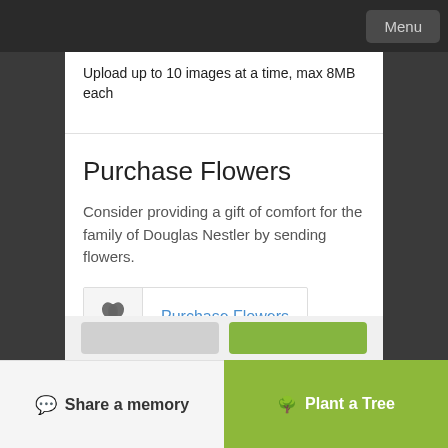Menu
Upload up to 10 images at a time, max 8MB each
Purchase Flowers
Consider providing a gift of comfort for the family of Douglas Nestler by sending flowers.
Purchase Flowers
💬 Share a memory
🌳 Plant a Tree